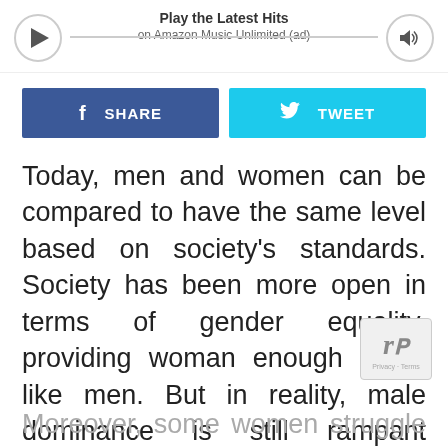[Figure (other): Amazon Music Unlimited ad bar with play button, progress line, and volume button. Title: Play the Latest Hits, subtitle: on Amazon Music Unlimited (ad)]
[Figure (other): Social sharing buttons: Facebook SHARE button (blue) and Twitter TWEET button (light blue)]
Today, men and women can be compared to have the same level based on society's standards. Society has been more open in terms of gender equality, providing woman enough rights like men. But in reality, male dominance is still rampant throughout the world.
Moreover, some women struggle to stand